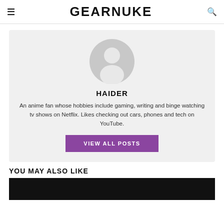≡  GEARNUKE  🔍
[Figure (illustration): Generic user avatar: grey circle with white silhouette of a person (head and shoulders)]
HAIDER
An anime fan whose hobbies include gaming, writing and binge watching tv shows on Netflix. Likes checking out cars, phones and tech on YouTube.
VIEW ALL POSTS
YOU MAY ALSO LIKE
[Figure (photo): Dark/black image strip at the bottom of the page]